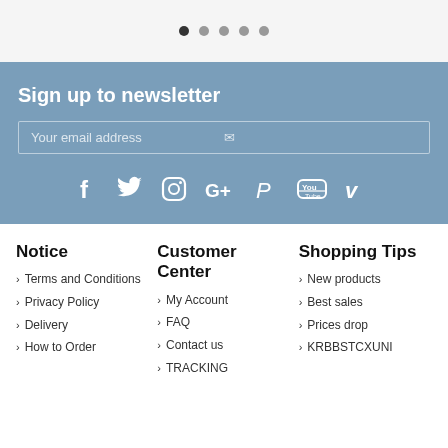[Figure (other): Carousel navigation dots — one filled dark (active) and four grey dots]
Sign up to newsletter
Your email address
[Figure (infographic): Social media icons: Facebook, Twitter, Instagram, Google+, Pinterest, YouTube, Vimeo]
Notice
Terms and Conditions
Privacy Policy
Delivery
How to Order
Customer Center
My Account
FAQ
Contact us
TRACKING
Shopping Tips
New products
Best sales
Prices drop
KRBBSTCXUNI